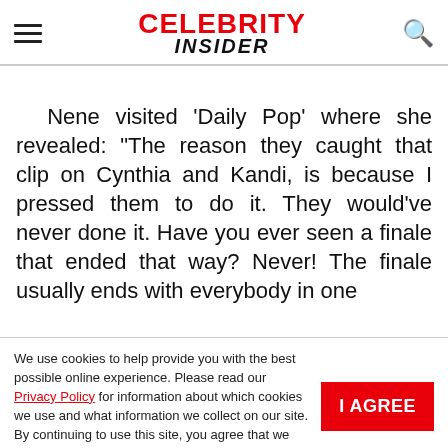CELEBRITY INSIDER
Nene visited 'Daily Pop' where she revealed: "The reason they caught that clip on Cynthia and Kandi, is because I pressed them to do it. They would've never done it. Have you ever seen a finale that ended that way? Never! The finale usually ends with everybody in one
We use cookies to help provide you with the best possible online experience. Please read our Privacy Policy for information about which cookies we use and what information we collect on our site. By continuing to use this site, you agree that we may store and access cookies on your device.